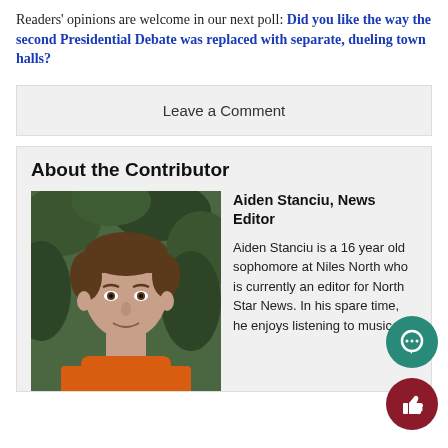Readers' opinions are welcome in our next poll: Did you like the way the second Presidential Debate was replaced with separate, dueling town halls?
Leave a Comment
About the Contributor
[Figure (photo): Headshot of Aiden Stanciu, a teenage boy with short brown hair wearing an orange shirt, photographed outdoors in front of foliage.]
Aiden Stanciu, News Editor
Aiden Stanciu is a 16 year old sophomore at Niles North who is currently an editor for North Star News. In his spare time, he enjoys listening to music,...